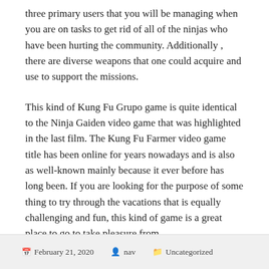three primary users that you will be managing when you are on tasks to get rid of all of the ninjas who have been hurting the community. Additionally , there are diverse weapons that one could acquire and use to support the missions.
This kind of Kung Fu Grupo game is quite identical to the Ninja Gaiden video game that was highlighted in the last film. The Kung Fu Farmer video game title has been online for years nowadays and is also as well-known mainly because it ever before has long been. If you are looking for the purpose of some thing to try through the vacations that is equally challenging and fun, this kind of game is a great place to go to take pleasure from.
February 21, 2020  nav  Uncategorized